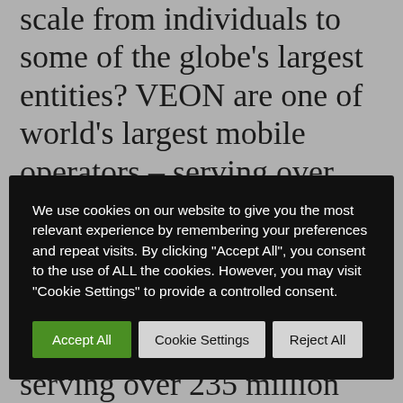scale from individuals to some of the globe's largest entities? VEON are one of world's largest mobile operators – serving over 235 million customers. We spoke to their Chief Business Officer, Frazam Vidjani, to d...
We use cookies on our website to give you the most relevant experience by remembering your preferences and repeat visits. By clicking "Accept All", you consent to the use of ALL the cookies. However, you may visit "Cookie Settings" to provide a controlled consent.
Cloud28+ provides an easy-to-use platform for finding the right solution providers.
VEON are one of world's largest mobile operators – serving over 235 million